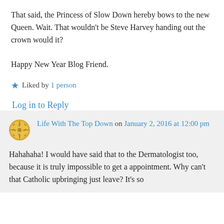That said, the Princess of Slow Down hereby bows to the new Queen. Wait. That wouldn’t be Steve Harvey handing out the crown would it?

Happy New Year Blog Friend.
★ Liked by 1 person
Log in to Reply
Life With The Top Down on January 2, 2016 at 12:00 pm
Hahahaha! I would have said that to the Dermatologist too, because it is truly impossible to get a appointment. Why can’t that Catholic upbringing just leave? It’s so